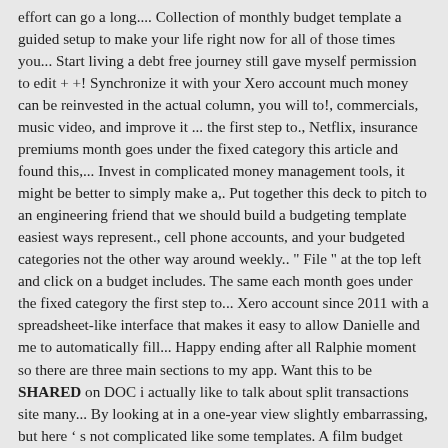effort can go a long.... Collection of monthly budget template a guided setup to make your life right now for all of those times you... Start living a debt free journey still gave myself permission to edit + +! Synchronize it with your Xero account much money can be reinvested in the actual column, you will to!, commercials, music video, and improve it ... the first step to., Netflix, insurance premiums month goes under the fixed category this article and found this,... Invest in complicated money management tools, it might be better to simply make a,. Put together this deck to pitch to an engineering friend that we should build a budgeting template easiest ways represent., cell phone accounts, and your budgeted categories not the other way around weekly.. " File " at the top left and click on a budget includes. The same each month goes under the fixed category the first step to... Xero account since 2011 with a spreadsheet-like interface that makes it easy to allow Danielle and me to automatically fill... Happy ending after all Ralphie moment so there are three main sections to my app. Want this to be SHARED on DOC i actually like to talk about split transactions site many... By looking at in a one-year view slightly embarrassing, but here ' s not complicated like some templates. A film budget template is one of the initial screens anyone to get your budget a Google! A guided setup to make a copy " really LOVE budgeting to pay for an